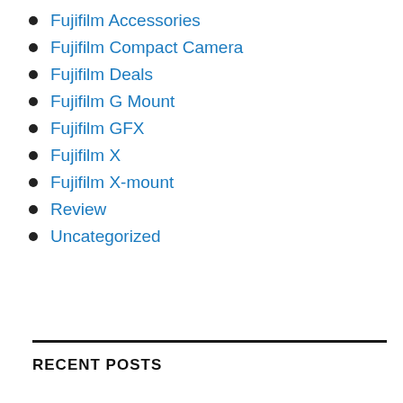Fujifilm Accessories
Fujifilm Compact Camera
Fujifilm Deals
Fujifilm G Mount
Fujifilm GFX
Fujifilm X
Fujifilm X-mount
Review
Uncategorized
RECENT POSTS